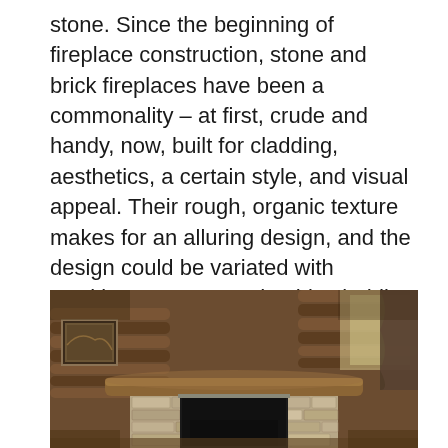stone. Since the beginning of fireplace construction, stone and brick fireplaces have been a commonality – at first, crude and handy, now, built for cladding, aesthetics, a certain style, and visual appeal. Their rough, organic texture makes for an alluring design, and the design could be variated with stacking patterns, and a thin cladding material. You can certainly make the facade that way, and install a modern electric heater inside, instead of an old fashioned chimney way – that would make your interior more stylistic, and engrossing.
[Figure (photo): Interior photo of a rustic log cabin living room featuring a stone fireplace with a large wooden beam mantel. The stone surround is light-colored with irregular stacked stone pattern. A black fireplace insert is visible. The room has wooden log walls, framed artwork, and curtains.]